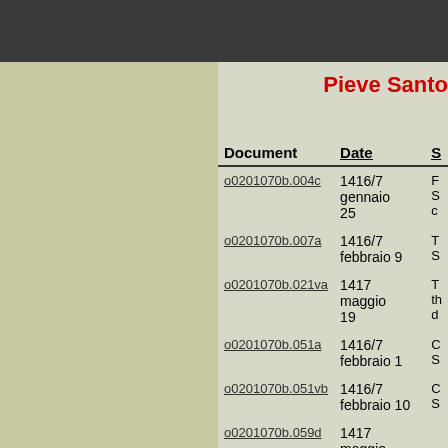Pieve Santo
| Document | Date | S |
| --- | --- | --- |
| o0201070b.004c | 1416/7 gennaio 25 | F S c |
| o0201070b.007a | 1416/7 febbraio 9 | T S |
| o0201070b.021va | 1417 maggio 19 | T th d |
| o0201070b.051a | 1416/7 febbraio 1 | C S |
| o0201070b.051vb | 1416/7 febbraio 10 | C S |
| o0201070b.059d | 1417 maggio |  |